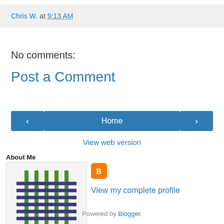Chris W. at 9:13 AM
No comments:
Post a Comment
[Figure (infographic): Navigation buttons: left arrow, Home, right arrow]
View web version
About Me
[Figure (photo): Profile photo showing a woven grid pattern with green vertical lines and dark blue horizontal lines on a light background]
[Figure (logo): Blogger orange icon/logo]
View my complete profile
Powered by Blogger.